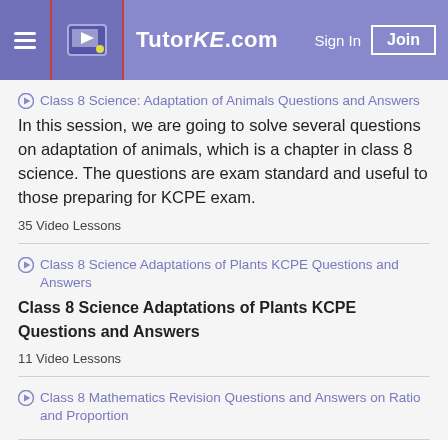TutorKE.com
Class 8 Science: Adaptation of Animals Questions and Answers
In this session, we are going to solve several questions on adaptation of animals, which is a chapter in class 8 science. The questions are exam standard and useful to those preparing for KCPE exam.
35 Video Lessons
Class 8 Science Adaptations of Plants KCPE Questions and Answers
Class 8 Science Adaptations of Plants KCPE Questions and Answers
11 Video Lessons
Class 8 Mathematics Revision Questions and Answers on Ratio and Proportion